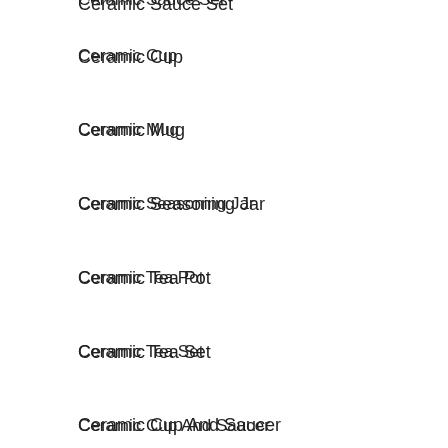Ceramic Sauce Set
Ceramic Cup
Ceramic Mug
Ceramic Seasoning Jar
Ceramic Tea Pot
Ceramic Tea Set
Ceramic Cup And Saucer
Dinnerware Sets
FLATWARE
Flatware Sets
Stainless Steel Fork
Stainless Steel Knife
Stainless Steel Spoon
KITCHENWARE
Bottle Opener